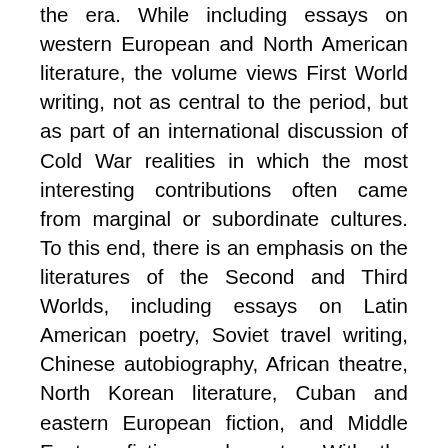the era. While including essays on western European and North American literature, the volume views First World writing, not as central to the period, but as part of an international discussion of Cold War realities in which the most interesting contributions often came from marginal or subordinate cultures. To this end, there is an emphasis on the literatures of the Second and Third Worlds, including essays on Latin American poetry, Soviet travel writing, Chinese autobiography, African theatre, North Korean literature, Cuban and eastern European fiction, and Middle Eastern fiction and poetry. With the post-Cold War era still in a condition of emergence, it is essential that we look back to the 1945-89 period to understand the political and cultural forces that shaped the modern world. The volume's analysis of those forces and its focus on many of the 'hot spots'